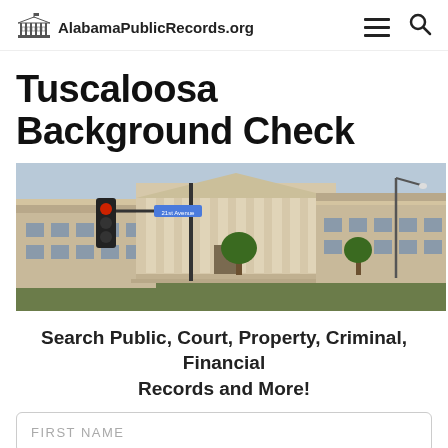AlabamaPublicRecords.org
Tuscaloosa Background Check
[Figure (photo): Street-level photo of Tuscaloosa courthouse building with columns, traffic light and street sign at intersection of 21st Avenue]
Search Public, Court, Property, Criminal, Financial Records and More!
FIRST NAME